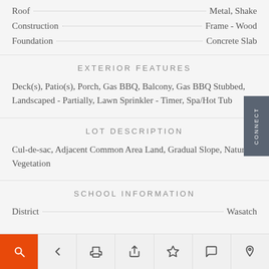Roof · · · Metal, Shake
Construction · · · Frame - Wood
Foundation · · · Concrete Slab
EXTERIOR FEATURES
Deck(s), Patio(s), Porch, Gas BBQ, Balcony, Gas BBQ Stubbed, Landscaped - Partially, Lawn Sprinkler - Timer, Spa/Hot Tub
LOT DESCRIPTION
Cul-de-sac, Adjacent Common Area Land, Gradual Slope, Natural Vegetation
SCHOOL INFORMATION
District · · · Wasatch
Toolbar with search, back, print, share, favorite, comment, and location icons